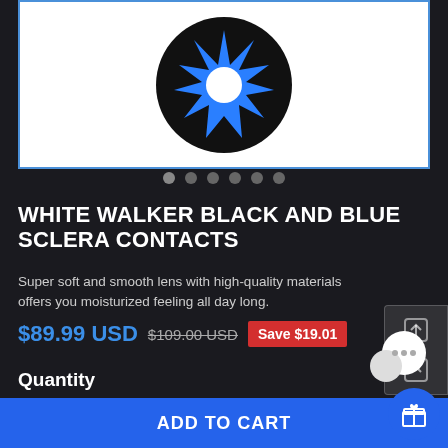[Figure (photo): Product image of White Walker Black and Blue Sclera contact lens on white background with blue border]
WHITE WALKER BLACK AND BLUE SCLERA CONTACTS
Super soft and smooth lens with high-quality materials offers you moisturized feeling all day long.
$89.99 USD  $109.00 USD  Save $19.01
Quantity
1
USD
ADD TO CART